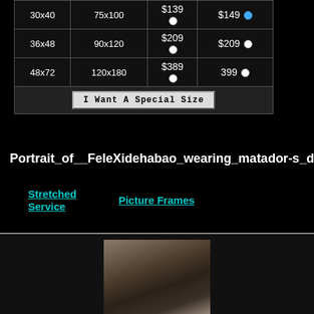| Size (in) | Size (cm) | Price 1 | Price 2 |
| --- | --- | --- | --- |
| 30x40 | 75x100 | $139 ● | $149 ● |
| 36x48 | 90x120 | $209 ● | $209 ● |
| 48x72 | 120x180 | $389 ● | 399 ● |
I Want A Special Size
Portrait_of__FeleXidehabao_wearing_matador-s_dre
Stretched Service
Picture Frames
[Figure (photo): Portrait painting of a person wearing dark clothing, possibly a matador's dress, painted in an impressionist style with muted brown and gray tones.]